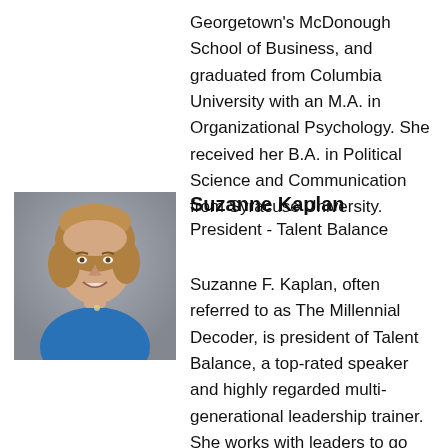Georgetown's McDonough School of Business, and graduated from Columbia University with an M.A. in Organizational Psychology. She received her B.A. in Political Science and Communication from Syracuse University.
[Figure (photo): Portrait photo of Suzanne Kaplan, a woman with short blonde-brown hair wearing a blue jacket, smiling, against a grey background.]
Suzanne Kaplan
President - Talent Balance
Suzanne F. Kaplan, often referred to as The Millennial Decoder, is president of Talent Balance, a top-rated speaker and highly regarded multi-generational leadership trainer. She works with leaders to go beyond generational hype and stereotypes to bridge styles, foster collaboration, and improve workforce